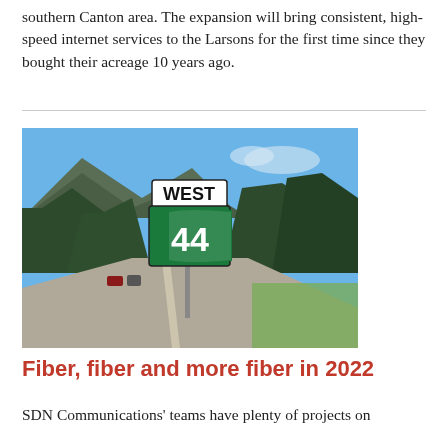southern Canton area. The expansion will bring consistent, high-speed internet services to the Larsons for the first time since they bought their acreage 10 years ago.
[Figure (photo): Road sign showing 'WEST 44' on a South Dakota state highway sign, with forested hills in the background, a road visible with vehicles, and green grass in the foreground under a blue sky.]
Fiber, fiber and more fiber in 2022
SDN Communications' teams have plenty of projects on